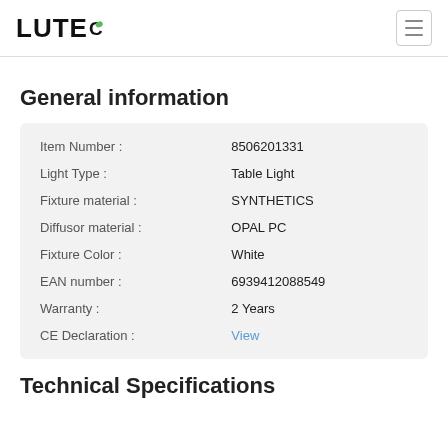LUTEC
General information
| Item Number : | 8506201331 |
| Light Type : | Table Light |
| Fixture material : | SYNTHETICS |
| Diffusor material : | OPAL PC |
| Fixture Color : | White |
| EAN number : | 6939412088549 |
| Warranty : | 2 Years |
| CE Declaration : | View |
Technical Specifications